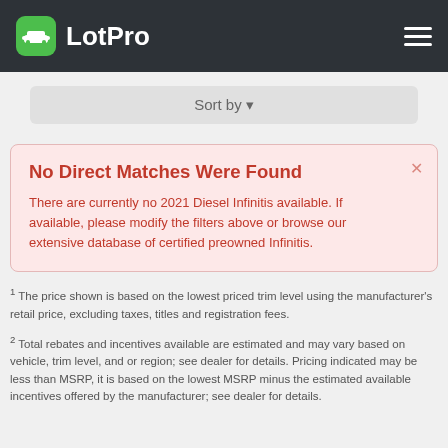LotPro
Sort by
No Direct Matches Were Found
There are currently no 2021 Diesel Infinitis available. If available, please modify the filters above or browse our extensive database of certified preowned Infinitis.
1 The price shown is based on the lowest priced trim level using the manufacturer's retail price, excluding taxes, titles and registration fees.
2 Total rebates and incentives available are estimated and may vary based on vehicle, trim level, and or region; see dealer for details. Pricing indicated may be less than MSRP, it is based on the lowest MSRP minus the estimated available incentives offered by the manufacturer; see dealer for details.